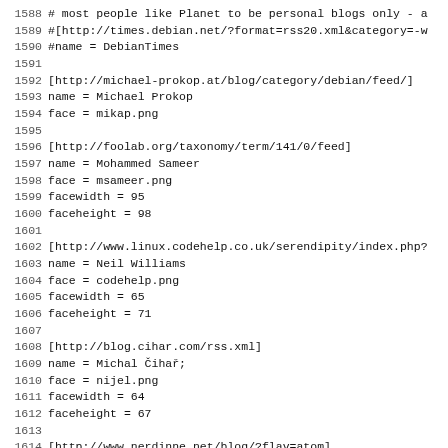1588 # most people like Planet to be personal blogs only - a
1589 #[http://times.debian.net/?format=rss20.xml&category=-w
1590 #name = DebianTimes
1591 
1592 [http://michael-prokop.at/blog/category/debian/feed/]
1593 name = Michael Prokop
1594 face = mikap.png
1595 
1596 [http://foolab.org/taxonomy/term/141/0/feed]
1597 name = Mohammed Sameer
1598 face = msameer.png
1599 facewidth = 95
1600 faceheight = 98
1601 
1602 [http://www.linux.codehelp.co.uk/serendipity/index.php?
1603 name = Neil Williams
1604 face = codehelp.png
1605 facewidth = 65
1606 faceheight = 71
1607 
1608 [http://blog.cihar.com/rss.xml]
1609 name = Michal &#268;iha&#345;;
1610 face = nijel.png
1611 facewidth = 64
1612 faceheight = 67
1613 
1614 [http://www.nerdinne.net/blog/?flav=atom]
1615 name = Runa Sandvik
1616 face = runa.png
1617 facewidth = 70
1618 faceheight = 92
1619